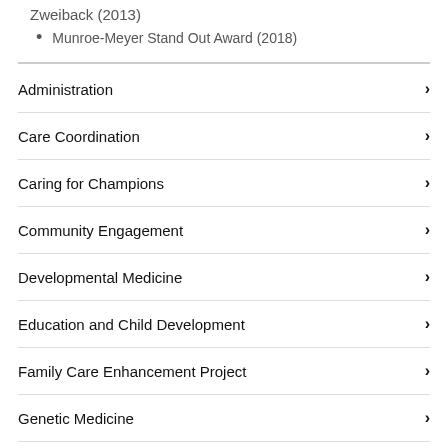Zweiback (2013)
Munroe-Meyer Stand Out Award (2018)
Administration
Care Coordination
Caring for Champions
Community Engagement
Developmental Medicine
Education and Child Development
Family Care Enhancement Project
Genetic Medicine
integrated Center for Autism Spectrum Disorders